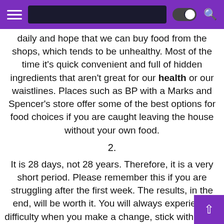Navigation bar with hamburger menu, address bar, dark mode toggle, and search icon
daily and hope that we can buy food from the shops, which tends to be unhealthy. Most of the time it's quick convenient and full of hidden ingredients that aren't great for our health or our waistlines. Places such as BP with a Marks and Spencer's store offer some of the best options for food choices if you are caught leaving the house without your own food.
2.
It is 28 days, not 28 years. Therefore, it is a very short period. Please remember this if you are struggling after the first week. The results, in the end, will be worth it. You will always experience difficulty when you make a change, stick with it and you will feel great after.
3.
When going to a social event it's not hard to stick to the plan. You can still have a glass of wine, eat meats and vegetables, etc. You may